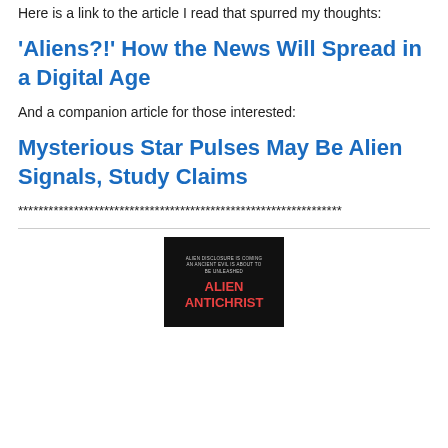Here is a link to the article I read that spurred my thoughts:
'Aliens?!' How the News Will Spread in a Digital Age
And a companion article for those interested:
Mysterious Star Pulses May Be Alien Signals, Study Claims
****************************************************************
[Figure (photo): Book cover for 'Alien Antichrist' with dark background, subtitle text at top and bold red title text in the center.]